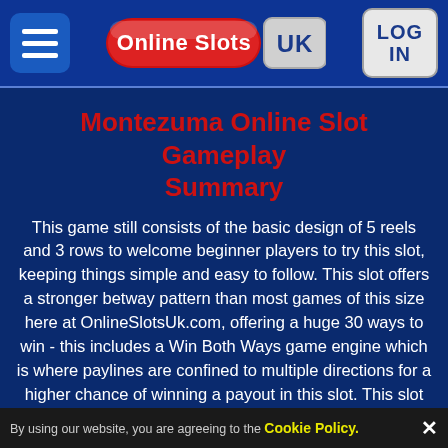Online Slots UK — LOG IN
Montezuma Online Slot Gameplay Summary
This game still consists of the basic design of 5 reels and 3 rows to welcome beginner players to try this slot, keeping things simple and easy to follow. This slot offers a stronger betway pattern than most games of this size here at OnlineSlotsUk.com, offering a huge 30 ways to win - this includes a Win Both Ways game engine which is where paylines are confined to multiple directions for a higher chance of winning a payout in this slot. This slot features a 95.68% return to player rate, which is very average for a slot to offer - this makes the game a good chance against winning
By using our website, you are agreeing to the Cookie Policy. ✕